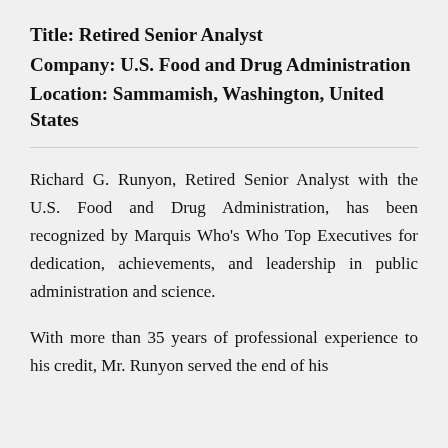Title: Retired Senior Analyst
Company: U.S. Food and Drug Administration
Location: Sammamish, Washington, United States
Richard G. Runyon, Retired Senior Analyst with the U.S. Food and Drug Administration, has been recognized by Marquis Who’s Who Top Executives for dedication, achievements, and leadership in public administration and science.
With more than 35 years of professional experience to his credit, Mr. Runyon served the end of his